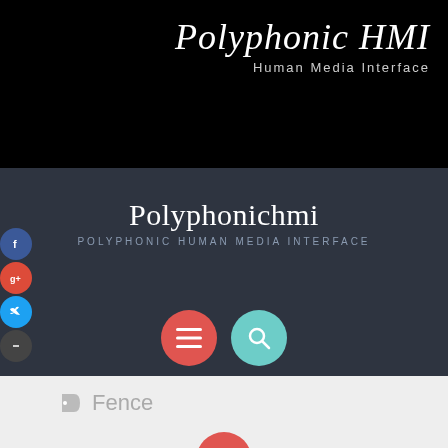Polyphonic HMI
Human Media Interface
Polyphonichmi
POLYPHONIC HUMAN MEDIA INTERFACE
[Figure (screenshot): Circular menu button (red) with three horizontal lines icon, and circular search button (teal) with magnifying glass icon]
[Figure (infographic): Social media sidebar with Facebook, Google+, Twitter, and dark circle buttons on the left edge]
Fence
[Figure (infographic): Partial red circle visible at bottom center of page]